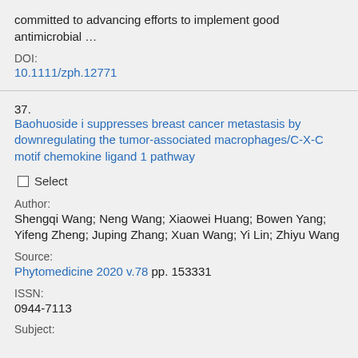committed to advancing efforts to implement good antimicrobial …
DOI:
10.1111/zph.12771
37. Baohuoside i suppresses breast cancer metastasis by downregulating the tumor-associated macrophages/C-X-C motif chemokine ligand 1 pathway
Select
Author:
Shengqi Wang; Neng Wang; Xiaowei Huang; Bowen Yang; Yifeng Zheng; Juping Zhang; Xuan Wang; Yi Lin; Zhiyu Wang
Source:
Phytomedicine 2020 v.78 pp. 153331
ISSN:
0944-7113
Subject: